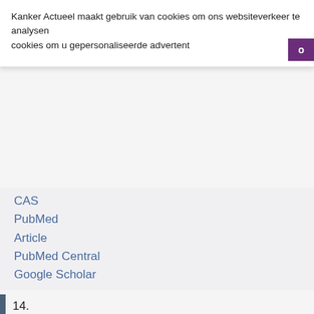Kanker Actueel maakt gebruik van cookies om ons websiteverkeer te analysen cookies om u gepersonaliseerde advertent
CAS
PubMed
Article
PubMed Central
Google Scholar
14. Karbach, J. et al. Efficient in vivo priming by vaccination with protein and CpG in antigen naive prostate cancer patient 870 (2011).
CAS
PubMed
Article
PubMed Central